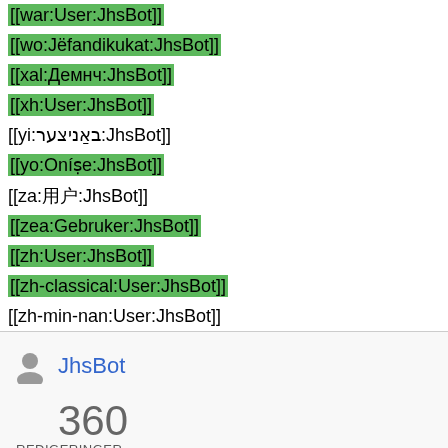[[war:User:JhsBot]]
[[wo:Jëfandikukat:JhsBot]]
[[xal:Демнч:JhsBot]]
[[xh:User:JhsBot]]
[[yi:באַניצער:JhsBot]]
[[yo:Oníṣe:JhsBot]]
[[za:用户:JhsBot]]
[[zea:Gebruker:JhsBot]]
[[zh:User:JhsBot]]
[[zh-classical:User:JhsBot]]
[[zh-min-nan:User:JhsBot]]
JhsBot
360
REDIGERINGER